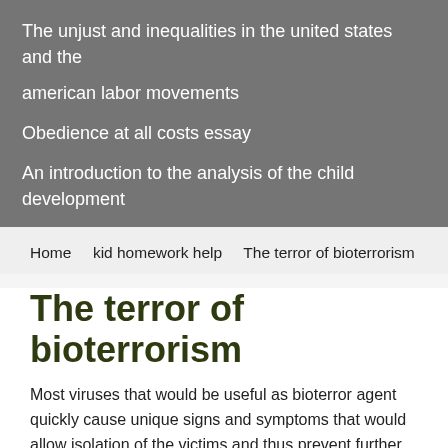The unjust and inequalities in the united states and the american labor movements
Obedience at all costs essay
An introduction to the analysis of the child development
Home   kid homework help   The terror of bioterrorism
The terror of bioterrorism
Most viruses that would be useful as bioterror agent quickly cause unique signs and symptoms that would allow isolation of the victims and thus prevent further spread of the disease. Many of the bacterial or viral